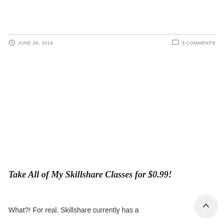JUNE 28, 2016   3 COMMENTS
Take All of My Skillshare Classes for $0.99!
What?! For real. Skillshare currently has a